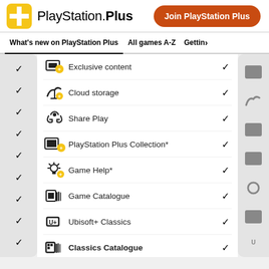[Figure (logo): PlayStation Plus logo with golden PS+ icon and text]
Join PlayStation Plus
What's new on PlayStation Plus | All games A-Z | Gettin>
Exclusive content
Cloud storage
Share Play
PlayStation Plus Collection*
Game Help*
Game Catalogue
Ubisoft+ Classics
Classics Catalogue
Game trials